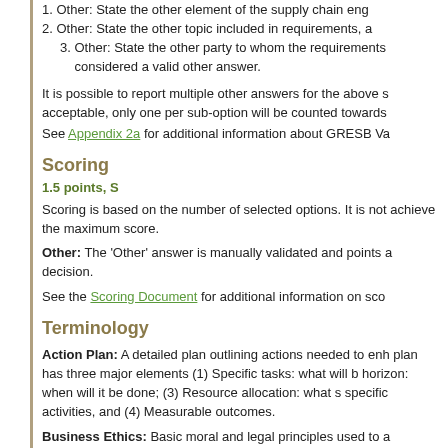1. Other: State the other element of the supply chain en
2. Other: State the other topic included in requirements, a
3. Other: State the other party to whom the requirements considered a valid other answer.
It is possible to report multiple other answers for the above s acceptable, only one per sub-option will be counted towards
See Appendix 2a for additional information about GRESB Va
Scoring
1.5 points, S
Scoring is based on the number of selected options. It is not achieve the maximum score.
Other: The 'Other' answer is manually validated and points a decision.
See the Scoring Document for additional information on sco
Terminology
Action Plan: A detailed plan outlining actions needed to enh plan has three major elements (1) Specific tasks: what will b horizon: when will it be done; (3) Resource allocation: what s specific activities, and (4) Measurable outcomes.
Business Ethics: Basic moral and legal principles used to a